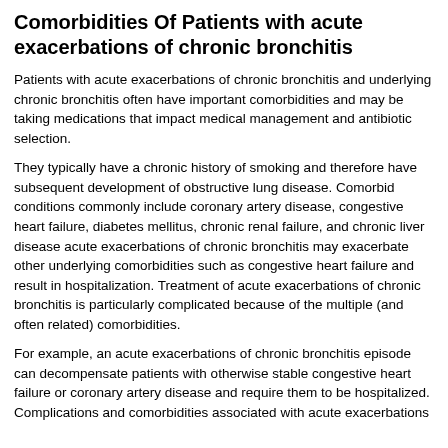Comorbidities Of Patients with acute exacerbations of chronic bronchitis
Patients with acute exacerbations of chronic bronchitis and underlying chronic bronchitis often have important comorbidities and may be taking medications that impact medical management and antibiotic selection.
They typically have a chronic history of smoking and therefore have subsequent development of obstructive lung disease. Comorbid conditions commonly include coronary artery disease, congestive heart failure, diabetes mellitus, chronic renal failure, and chronic liver disease acute exacerbations of chronic bronchitis may exacerbate other underlying comorbidities such as congestive heart failure and result in hospitalization. Treatment of acute exacerbations of chronic bronchitis is particularly complicated because of the multiple (and often related) comorbidities.
For example, an acute exacerbations of chronic bronchitis episode can decompensate patients with otherwise stable congestive heart failure or coronary artery disease and require them to be hospitalized. Complications and comorbidities associated with acute exacerbations